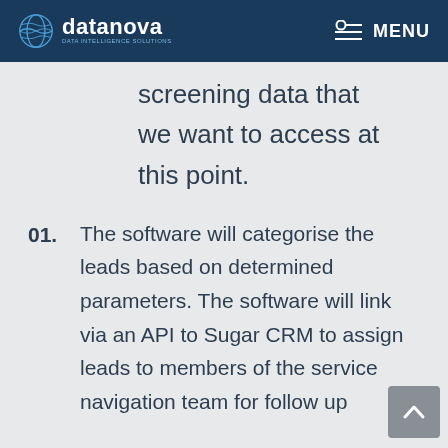datanova | MENU
screening data that we want to access at this point.
01. The software will categorise the leads based on determined parameters. The software will link via an API to Sugar CRM to assign leads to members of the service navigation team for follow up